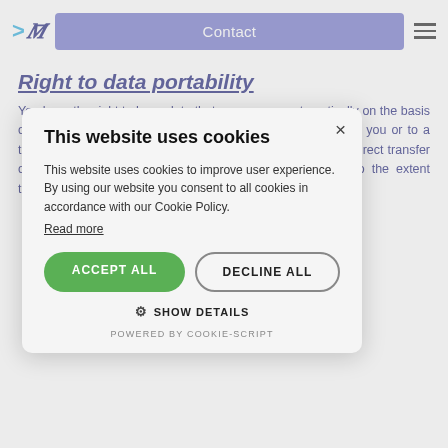[Figure (logo): Website logo with arrow and stylized M letters in blue]
Contact
Right to data portability
You have the right to have data that we process automatically on the basis of your consent or in fulfilment of a contract handed over to you or to a third party in a machine-readable format. If you request the direct transfer of the data to another controller, this will only be done to the extent technically feasible.
This website uses cookies
This website uses cookies to improve user experience. By using our website you consent to all cookies in accordance with our Cookie Policy.
Read more
ACCEPT ALL
DECLINE ALL
SHOW DETAILS
POWERED BY COOKIE-SCRIPT
transmission of inquiries that you uses SSL or TLS connection by changes from
"http://" to "https://" and by the lock symbol in your